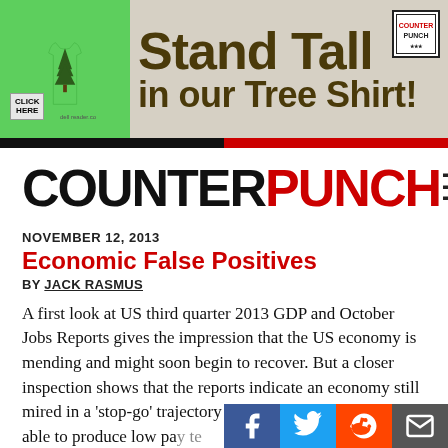[Figure (illustration): Advertisement banner for a tree shirt. Green t-shirt with tree design on left, large text 'Stand Tall in our Tree Shirt!' in dark olive/brown on gray background. Small badge in top-right corner. Click here button bottom-left.]
COUNTERPUNCH
NOVEMBER 12, 2013
Economic False Positives
BY JACK RASMUS
A first look at US third quarter 2013 GDP and October Jobs Reports gives the impression that the US economy is mending and might soon begin to recover. But a closer inspection shows that the reports indicate an economy still mired in a 'stop-go' trajectory at best and a jobs market able to produce low pa...te...